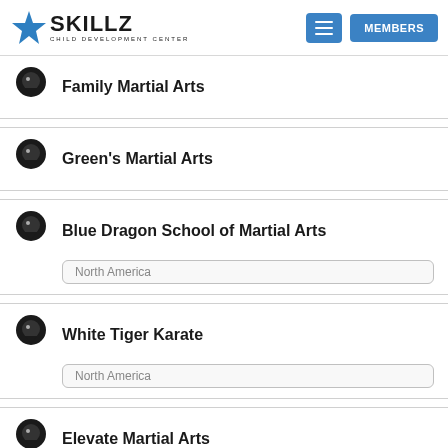SKILLZ CHILD DEVELOPMENT CENTER — MEMBERS
Family Martial Arts
Green's Martial Arts
Blue Dragon School of Martial Arts
White Tiger Karate
Elevate Martial Arts